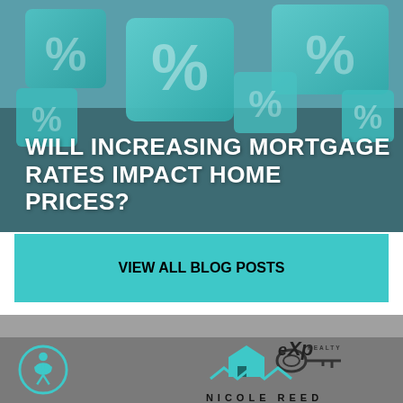[Figure (photo): Photo of teal/cyan 3D percentage sign blocks/cubes arranged together, used as hero image background for real estate blog post]
WILL INCREASING MORTGAGE RATES IMPACT HOME PRICES?
VIEW ALL BLOG POSTS
SEARCH
COMMUNITIES
BUYERS
SELLERS
ABOUT
CONTACT
LOGIN/REGISTER
[Figure (logo): eXp Realty logo with key/house icon and Nicole Reed text below]